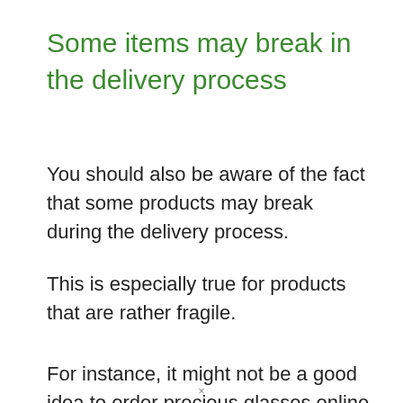Some items may break in the delivery process
You should also be aware of the fact that some products may break during the delivery process.
This is especially true for products that are rather fragile.
For instance, it might not be a good idea to order precious glasses online since the chances that these items